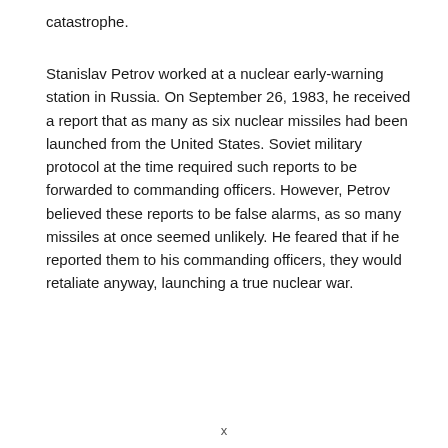catastrophe.
Stanislav Petrov worked at a nuclear early-warning station in Russia. On September 26, 1983, he received a report that as many as six nuclear missiles had been launched from the United States. Soviet military protocol at the time required such reports to be forwarded to commanding officers. However, Petrov believed these reports to be false alarms, as so many missiles at once seemed unlikely. He feared that if he reported them to his commanding officers, they would retaliate anyway, launching a true nuclear war.
x